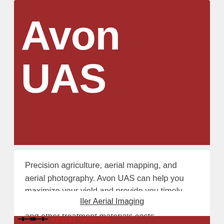Avon UAS
Precision agriculture, aerial mapping, and aerial photography. Avon UAS can help you maximize your yield and provide you timely information to potentially reduce your fertilizer and other treatment materials costs.
Iler Aerial Imaging
[Figure (logo): Aerial Imaging logo at bottom with red bar and drone silhouette icon]